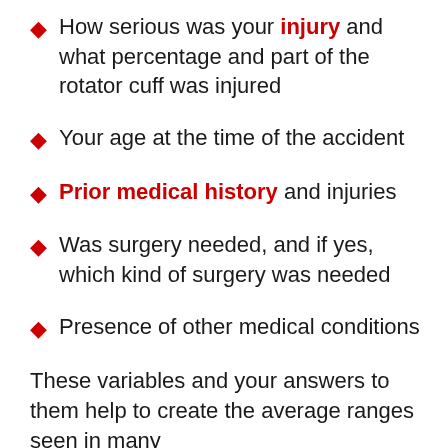How serious was your injury and what percentage and part of the rotator cuff was injured
Your age at the time of the accident
Prior medical history and injuries
Was surgery needed, and if yes, which kind of surgery was needed
Presence of other medical conditions
These variables and your answers to them help to create the average ranges seen in many